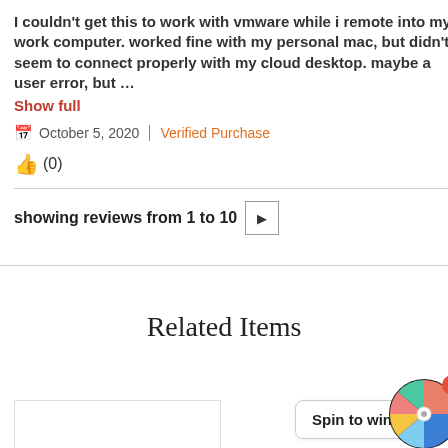I couldn't get this to work with vmware while i remote into my work computer. worked fine with my personal mac, but didn't seem to connect properly with my cloud desktop. maybe a user error, but …
Show full
October 5, 2020   Verified Purchase
👍 (0)
showing reviews from 1 to 10 ▶
Related Items
[Figure (infographic): Spin to win promotional widget with a colorful prize wheel and badge showing '1', alongside a 'Spin to win!' speech bubble button]